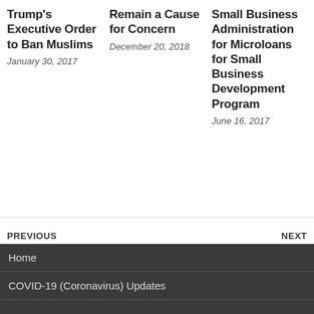Trump's Executive Order to Ban Muslims
January 30, 2017
Remain a Cause for Concern
December 20, 2018
Small Business Administration for Microloans for Small Business Development Program
June 16, 2017
PREVIOUS
September 2020 New Staff Updates
NEXT
September 2020 Children and Family Services Updates
Home
COVID-19 (Coronavirus) Updates